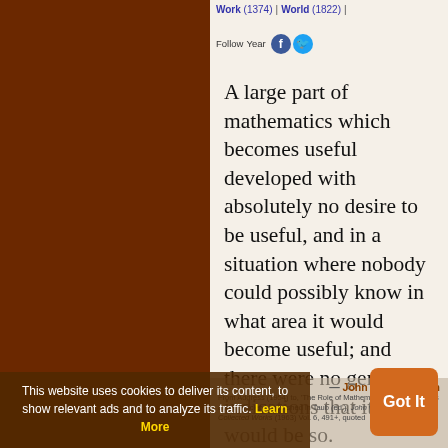[Figure (screenshot): Screenshot of a quote website with dark brown background and a white card showing a John von Neumann quote, with navigation links, social media icons, cookie banner overlay, and Got It button.]
Work (1374) | World (1822) | Follow Year
A large part of mathematics which becomes useful developed with absolutely no desire to be useful, and in a situation where nobody could possibly know in what area it would become useful; and there were no general indications that it ever would be so.
— John von Neumann
From Address (1954) to, 'The Role of Mathematics in the Sciences and in Society', published in Taub (ed.), John von Neumann: Collected Works (1963)
This website uses cookies to deliver its content, to show relevant ads and to analyze its traffic. Learn More